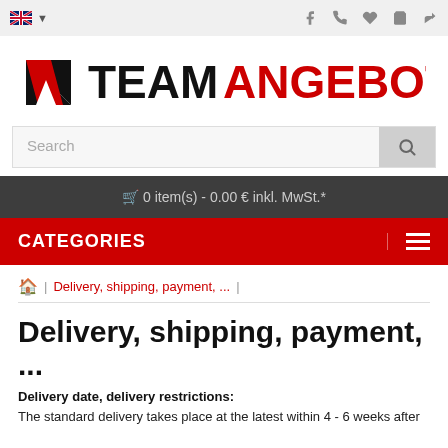teamangebote.de — top navigation bar with language selector and icons
[Figure (logo): TEAMANGEBOTE.DE logo with stylized TA icon in red/black and bold text]
Search
🛒 0 item(s) - 0.00 € inkl. MwSt.*
CATEGORIES
🏠 | Delivery, shipping, payment, ... |
Delivery, shipping, payment, ...
Delivery date, delivery restrictions:
The standard delivery takes place at the latest within 4 - 6 weeks after